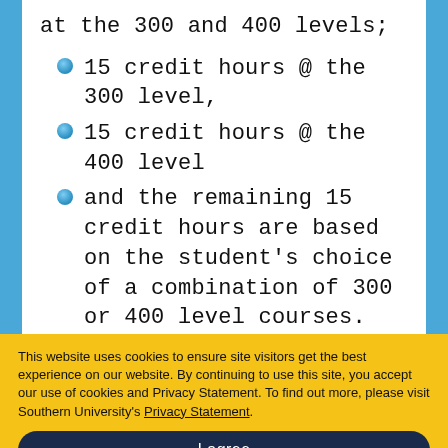at the 300 and 400 levels;
15 credit hours @ the 300 level,
15 credit hours @ the 400 level
and the remaining 15 credit hours are based on the student's choice of a combination of 300 or 400 level courses.
All areas of concentration require 30 credit hours with a grade of C or better.
This website uses cookies to ensure site visitors get the best experience on our website. By continuing to use this site, you accept our use of cookies and Privacy Statement. To find out more, please visit Southern University's Privacy Statement.
I agree